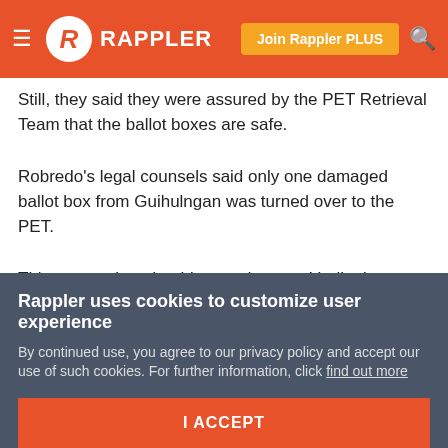RAPPLER — Join Rappler PLUS
Still, they said they were assured by the PET Retrieval Team that the ballot boxes are safe.
Robredo's legal counsels said only one damaged ballot box from Guihulngan was turned over to the PET.
This means that should more damaged ballot boxes be reported later on, it could only mean they were damaged during their transport from Negros Oriental to Manila.
The retrieval of ballot boxes began in Negros Oriental on
Rappler uses cookies to customize user experience
By continued use, you agree to our privacy policy and accept our use of such cookies. For further information, click find out more
I ACCEPT